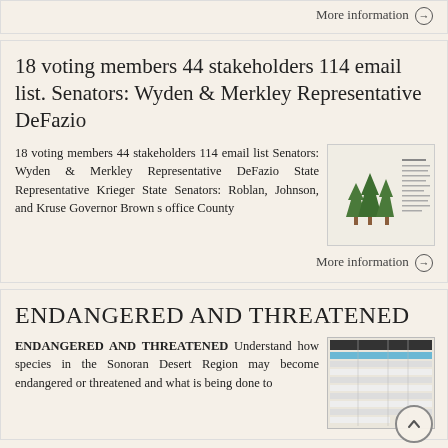More information →
18 voting members 44 stakeholders 114 email list. Senators: Wyden & Merkley Representative DeFazio
18 voting members 44 stakeholders 114 email list Senators: Wyden & Merkley Representative DeFazio State Representative Krieger State Senators: Roblan, Johnson, and Kruse Governor Brown s office County
More information →
ENDANGERED AND THREATENED
ENDANGERED AND THREATENED Understand how species in the Sonoran Desert Region may become endangered or threatened and what is being done to